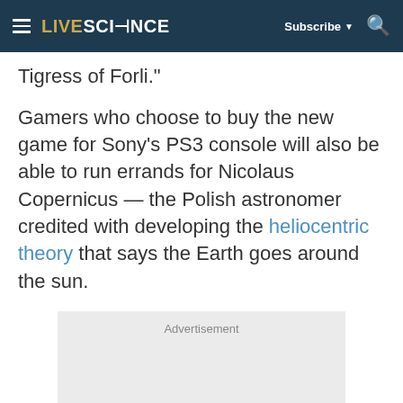LIVESCIENCE | Subscribe | Search
Tigress of Forli."
Gamers who choose to buy the new game for Sony's PS3 console will also be able to run errands for Nicolaus Copernicus — the Polish astronomer credited with developing the heliocentric theory that says the Earth goes around the sun.
[Figure (other): Advertisement placeholder box]